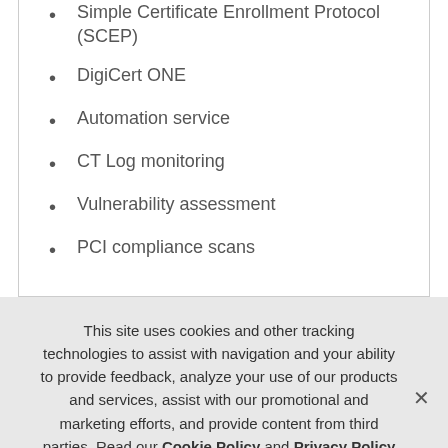Simple Certificate Enrollment Protocol (SCEP)
DigiCert ONE
Automation service
CT Log monitoring
Vulnerability assessment
PCI compliance scans
This site uses cookies and other tracking technologies to assist with navigation and your ability to provide feedback, analyze your use of our products and services, assist with our promotional and marketing efforts, and provide content from third parties. Read our Cookie Policy and Privacy Policy to learn more.